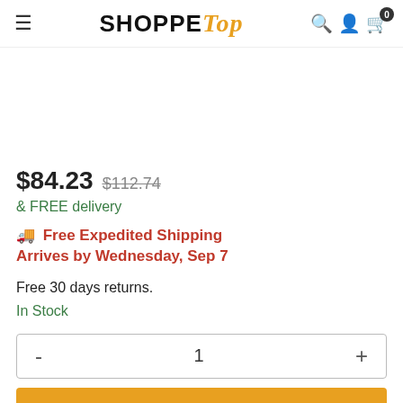SHOPPETop — navigation header with hamburger menu, logo, search, user, and cart icons
$84.23  $112.74
& FREE delivery
🚚 Free Expedited Shipping Arrives by Wednesday, Sep 7
Free 30 days returns.
In Stock
- 1 +